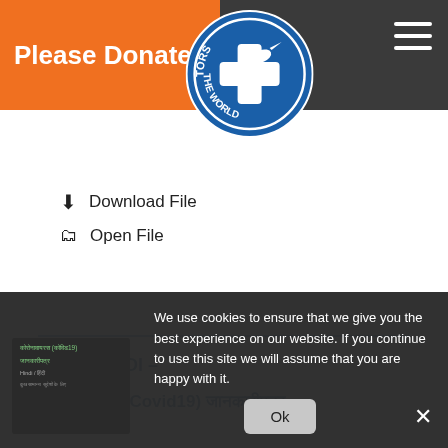Please Donate
[Figure (logo): Doctors of the World circular blue logo with white cross and dove]
Download File
Open File
हिन्दी/ HINDI –
कोरोनावायरस (Covid19) जानकारीपत्र
We use cookies to ensure that we give you the best experience on our website. If you continue to use this site we will assume that you are happy with it.